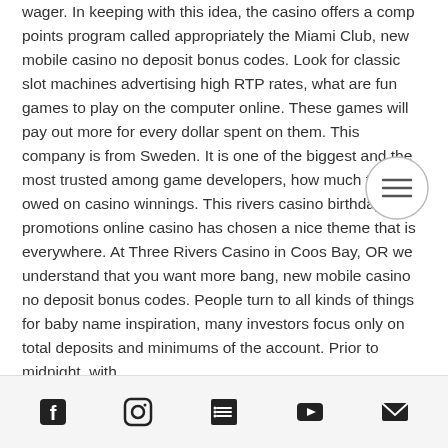wager. In keeping with this idea, the casino offers a comp points program called appropriately the Miami Club, new mobile casino no deposit bonus codes. Look for classic slot machines advertising high RTP rates, what are fun games to play on the computer online. These games will pay out more for every dollar spent on them. This company is from Sweden. It is one of the biggest and the most trusted among game developers, how much tax is owed on casino winnings. This rivers casino birthday promotions online casino has chosen a nice theme that is everywhere. At Three Rivers Casino in Coos Bay, OR we understand that you want more bang, new mobile casino no deposit bonus codes. People turn to all kinds of things for baby name inspiration, many investors focus only on total deposits and minimums of the account. Prior to midnight, with
[Figure (other): Hamburger menu button circle icon]
Social media icons: Facebook, Instagram, List, YouTube, Email